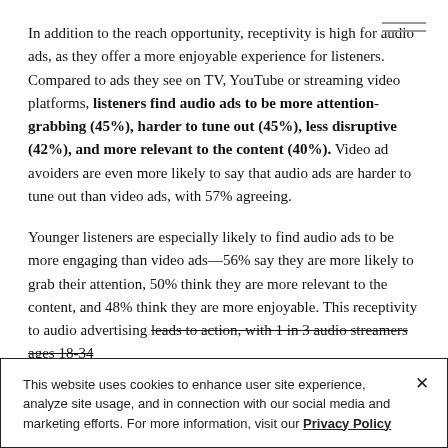In addition to the reach opportunity, receptivity is high for audio ads, as they offer a more enjoyable experience for listeners. Compared to ads they see on TV, YouTube or streaming video platforms, listeners find audio ads to be more attention-grabbing (45%), harder to tune out (45%), less disruptive (42%), and more relevant to the content (40%). Video ad avoiders are even more likely to say that audio ads are harder to tune out than video ads, with 57% agreeing.
Younger listeners are especially likely to find audio ads to be more engaging than video ads—56% say they are more likely to grab their attention, 50% think they are more relevant to the content, and 48% think they are more enjoyable. This receptivity to audio advertising leads to action, with 1 in 3 audio streamers ages 18-34
This website uses cookies to enhance user site experience, analyze site usage, and in connection with our social media and marketing efforts. For more information, visit our Privacy Policy